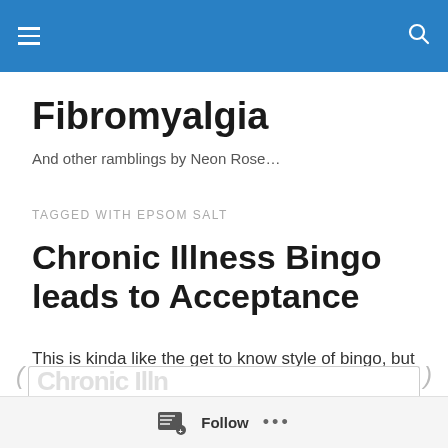Fibromyalgia — site header bar
Fibromyalgia
And other ramblings by Neon Rose…
TAGGED WITH EPSOM SALT
Chronic Illness Bingo leads to Acceptance
This is kinda like the get to know style of bingo, but it's just for you. Check off what applies to you.
Follow …